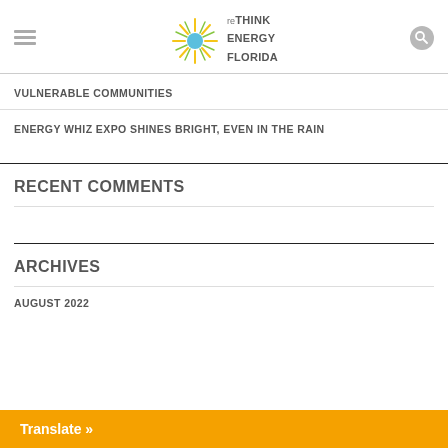reTHINK ENERGY FLORIDA
VULNERABLE COMMUNITIES
ENERGY WHIZ EXPO SHINES BRIGHT, EVEN IN THE RAIN
RECENT COMMENTS
ARCHIVES
AUGUST 2022
Translate »